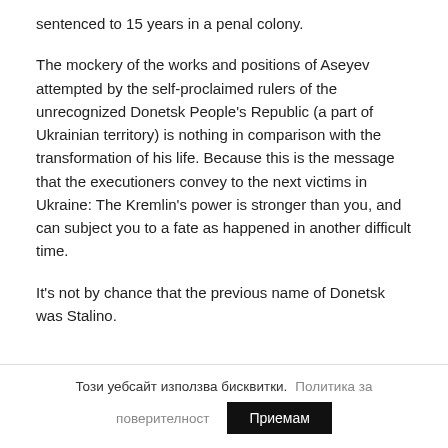sentenced to 15 years in a penal colony.
The mockery of the works and positions of Aseyev attempted by the self-proclaimed rulers of the unrecognized Donetsk People's Republic (a part of Ukrainian territory) is nothing in comparison with the transformation of his life. Because this is the message that the executioners convey to the next victims in Ukraine: The Kremlin's power is stronger than you, and can subject you to a fate as happened in another difficult time.
It's not by chance that the previous name of Donetsk was Stalino.
Този уебсайт използва бисквитки.  Политика за поверителност  Приемам